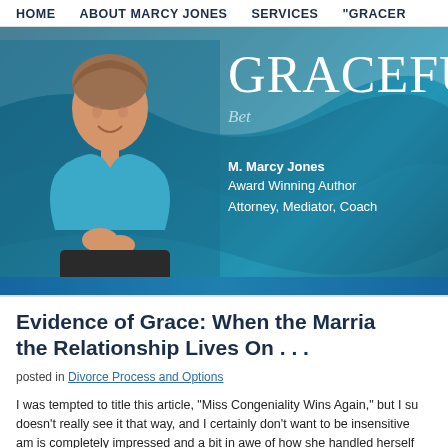HOME   ABOUT MARCY JONES   SERVICES   "GRACER..."
[Figure (photo): Website banner with a woman in a blue shirt seated, smiling. Text overlay reads 'GRACEFUL' in large serif font, with subtitle 'Bet...' and credentials 'M. Marcy Jones, Award Winning Author, Attorney, Mediator, Coach' on a teal/blue gradient background.]
Evidence of Grace: When the Marriage Ends but the Relationship Lives On . . .
posted in Divorce Process and Options
I was tempted to title this article, “Miss Congeniality Wins Again,” but I su... doesn’t really see it that way, and I certainly don’t want to be insensitive... am is completely impressed and a bit in awe of how she handled herself... family crisis.